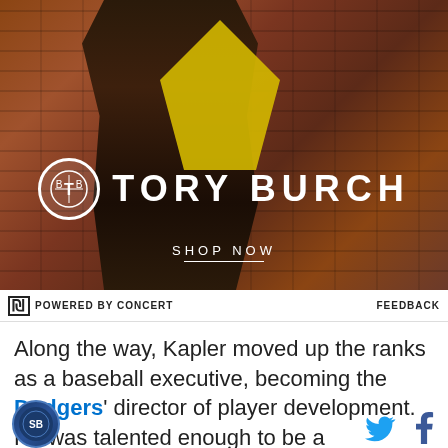[Figure (photo): Tory Burch advertisement showing a model in a brown and yellow outfit against a brick wall background, with Tory Burch logo and 'SHOP NOW' text overlay]
POWERED BY CONCERT   FEEDBACK
Along the way, Kapler moved up the ranks as a baseball executive, becoming the Dodgers' director of player development. He was talented enough to be a
[Figure (logo): Site logo circular badge at bottom left]
[Figure (logo): Twitter bird icon and Facebook f icon at bottom right]